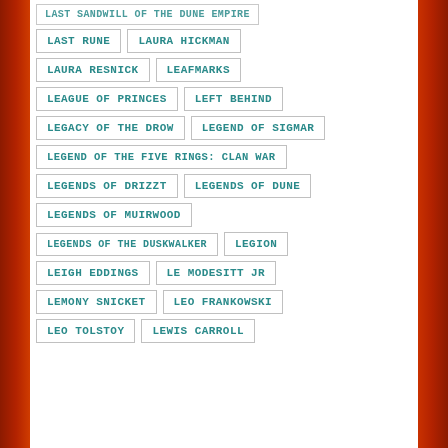LAST SANDWILL OF THE DUNE EMPIRE
LAST RUNE
LAURA HICKMAN
LAURA RESNICK
LEAFMARKS
LEAGUE OF PRINCES
LEFT BEHIND
LEGACY OF THE DROW
LEGEND OF SIGMAR
LEGEND OF THE FIVE RINGS: CLAN WAR
LEGENDS OF DRIZZT
LEGENDS OF DUNE
LEGENDS OF MUIRWOOD
LEGENDS OF THE DUSKWALKER
LEGION
LEIGH EDDINGS
LE MODESITT JR
LEMONY SNICKET
LEO FRANKOWSKI
LEO TOLSTOY
LEWIS CARROLL